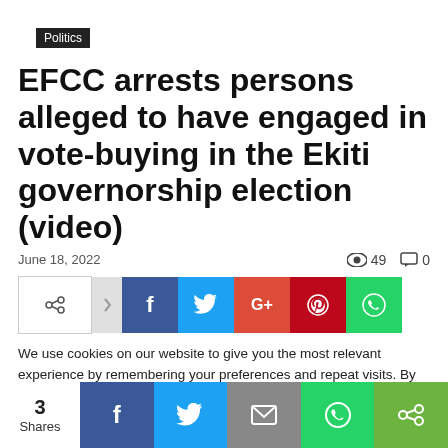Politics
EFCC arrests persons alleged to have engaged in vote-buying in the Ekiti governorship election (video)
June 18, 2022   👁 49   💬 0
[Figure (infographic): Social share buttons row: share icon, forward arrow, Facebook (f), Twitter (bird), Google+ (G+), Pinterest (p), WhatsApp (phone)]
We use cookies on our website to give you the most relevant experience by remembering your preferences and repeat visits. By clicking "Accept All", you consent to the use of ALL the cookies. However, you may visit "Cookie Settings" to provide a controlled consent.
[Figure (infographic): Cookie consent buttons: Cookie Settings (grey) and Accept All (red), partially visible]
3 Shares | Facebook | Twitter | Email | WhatsApp | Share